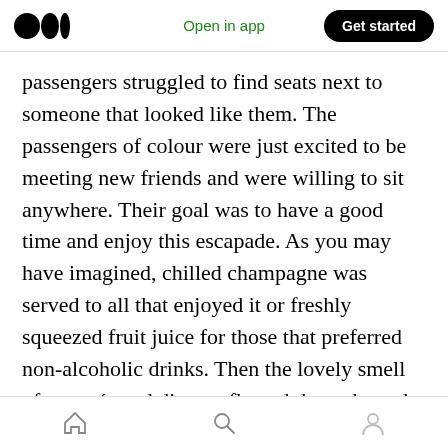Open in app | Get started
passengers struggled to find seats next to someone that looked like them. The passengers of colour were just excited to be meeting new friends and were willing to sit anywhere. Their goal was to have a good time and enjoy this escapade. As you may have imagined, chilled champagne was served to all that enjoyed it or freshly squeezed fruit juice for those that preferred non-alcoholic drinks. Then the lovely smell of canapés and dinners flowed throughout the cabin. This was followed by private screens to watch all the latest movies that were still in the
Home | Search | Profile